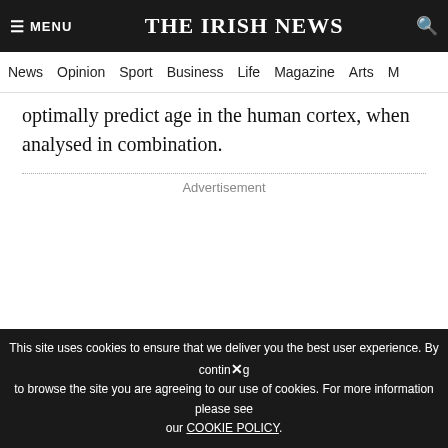THE IRISH NEWS
News  Opinion  Sport  Business  Life  Magazine  Arts
optimally predict age in the human cortex, when analysed in combination.
Advertisement
This site uses cookies to ensure that we deliver you the best user experience. By continuing to browse the site you are agreeing to our use of cookies. For more information please see our COOKIE POLICY.